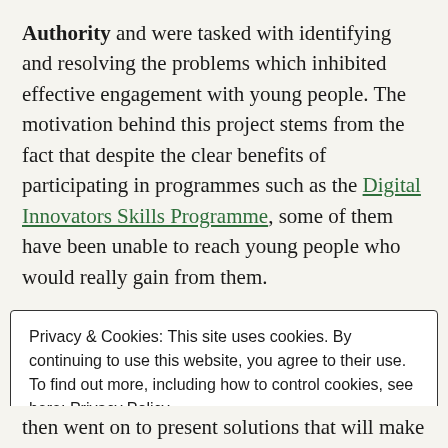Authority and were tasked with identifying and resolving the problems which inhibited effective engagement with young people. The motivation behind this project stems from the fact that despite the clear benefits of participating in programmes such as the Digital Innovators Skills Programme, some of them have been unable to reach young people who would really gain from them.
Privacy & Cookies: This site uses cookies. By continuing to use this website, you agree to their use. To find out more, including how to control cookies, see here: Privacy Policy
Close and accept
then went on to present solutions that will make